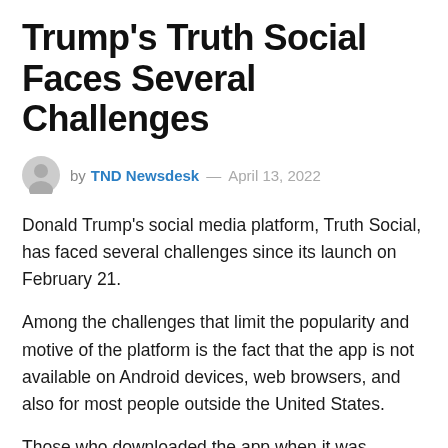Trump's Truth Social Faces Several Challenges
by TND Newsdesk — April 13, 2022
Donald Trump's social media platform, Truth Social, has faced several challenges since its launch on February 21.
Among the challenges that limit the popularity and motive of the platform is the fact that the app is not available on Android devices, web browsers, and also for most people outside the United States.
Those who downloaded the app when it was launched in February were unable to use it and it has remained unexplained, despite assurances that it will be fixed.
Donald Trump was also expected to post his views on the